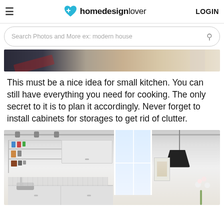homedesignlover LOGIN
Search Photos and More ex: modern house
[Figure (photo): Partial view of a kitchen with dark and warm-toned surfaces visible at the top of the page]
This must be a nice idea for small kitchen. You can still have everything you need for cooking. The only secret to it is to plan it accordingly. Never forget to install cabinets for storages to get rid of clutter.
[Figure (photo): A bright white small kitchen interior with open shelving, white cabinets, track lighting on the ceiling, a pendant light, and a window letting in natural light. Flowers visible at the bottom right.]